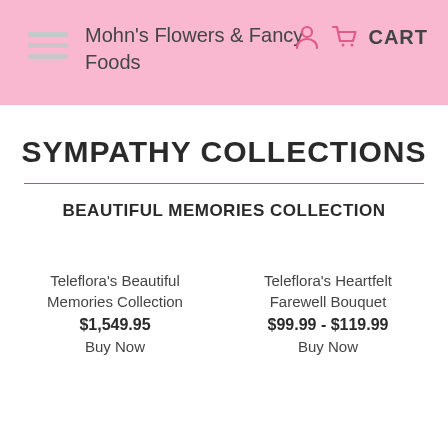Mohn's Flowers & Fancy Foods | CART
SYMPATHY COLLECTIONS
BEAUTIFUL MEMORIES COLLECTION
Teleflora's Beautiful Memories Collection
$1,549.95
Buy Now
Teleflora's Heartfelt Farewell Bouquet
$99.99 - $119.99
Buy Now